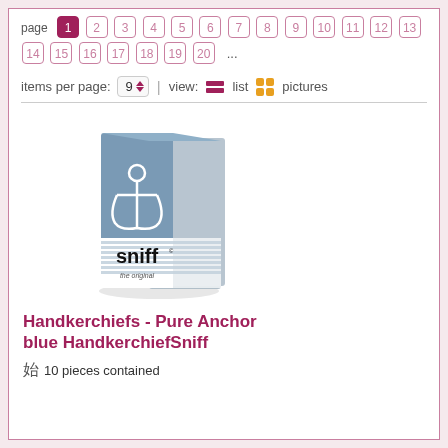page 1 2 3 4 5 6 7 8 9 10 11 12 13 14 15 16 17 18 19 20 ...
items per page: 9 | view: list pictures
[Figure (photo): Sniff handkerchief pocket tissue pack with blue anchor design and white horizontal stripes at bottom, labeled 'sniff the original']
Handkerchiefs - Pure Anchor blue HandkerchiefSniff
10 pieces contained